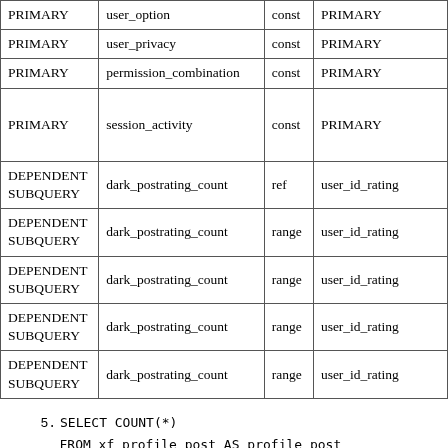| PRIMARY | user_option | const | PRIMARY |
| PRIMARY | user_privacy | const | PRIMARY |
| PRIMARY | permission_combination | const | PRIMARY |
| PRIMARY | session_activity | const | PRIMARY |
| DEPENDENT SUBQUERY | dark_postrating_count | ref | user_id_rating |
| DEPENDENT SUBQUERY | dark_postrating_count | range | user_id_rating |
| DEPENDENT SUBQUERY | dark_postrating_count | range | user_id_rating |
| DEPENDENT SUBQUERY | dark_postrating_count | range | user_id_rating |
| DEPENDENT SUBQUERY | dark_postrating_count | range | user_id_rating |
5. SELECT COUNT(*)
   FROM xf_profile_post AS profile_post

   WHERE (profile_post.profile_user_id = 55131) AND (p